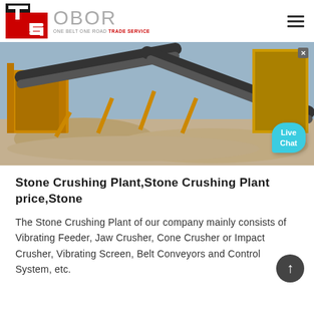[Figure (logo): OBOR (One Belt One Road Trade Service) logo with a red and black TS icon on the left and gray OBOR text with tagline on the right]
[Figure (photo): Stone crushing plant machinery — yellow industrial conveyor belts, crushers, and aggregated stone piles at a mining/quarry site. A Live Chat bubble is visible in the lower right corner.]
Stone Crushing Plant,Stone Crushing Plant price,Stone
The Stone Crushing Plant of our company mainly consists of Vibrating Feeder, Jaw Crusher, Cone Crusher or Impact Crusher, Vibrating Screen, Belt Conveyors and Control System, etc.